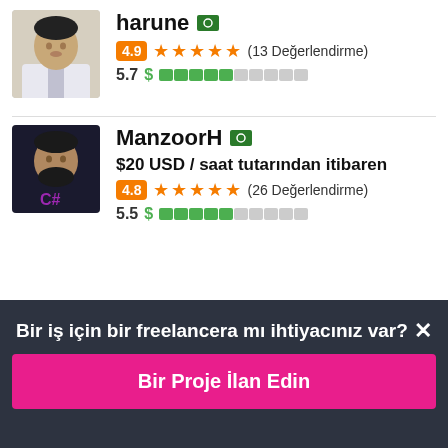harune [PK flag] — 4.9 ★★★★★ (13 Değerlendirme) — 5.7 $ [bar]
ManzoorH [PK flag] — $20 USD / saat tutarından itibaren — 4.8 ★★★★★ (26 Değerlendirme) — 5.5 $ [bar]
Bir iş için bir freelancera mı ihtiyacınız var? ×
Bir Proje İlan Edin